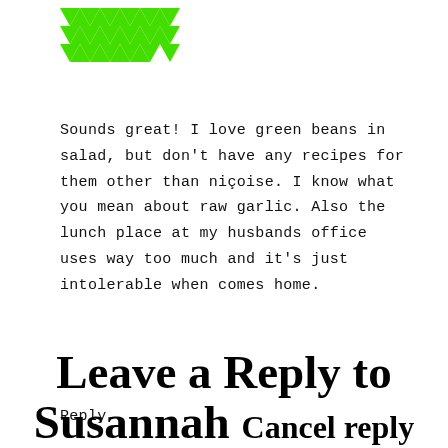[Figure (logo): Green geometric/diamond pattern logo in bright green color]
Sounds great! I love green beans in salad, but don't have any recipes for them other than niçoise. I know what you mean about raw garlic. Also the lunch place at my husbands office uses way too much and it's just intolerable when comes home.
Reply
Leave a Reply to Susannah Cancel reply